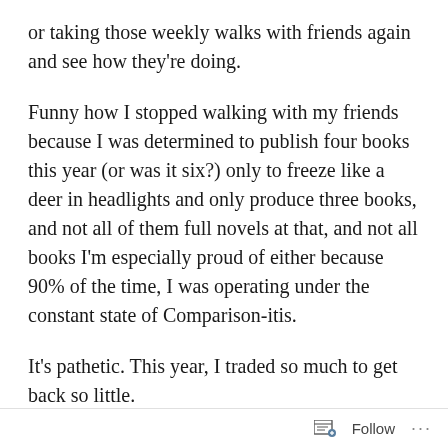or taking those weekly walks with friends again and see how they're doing.
Funny how I stopped walking with my friends because I was determined to publish four books this year (or was it six?) only to freeze like a deer in headlights and only produce three books, and not all of them full novels at that, and not all books I'm especially proud of either because 90% of the time, I was operating under the constant state of Comparison-itis.
It's pathetic. This year, I traded so much to get back so little.
So from now on, I'm taking it easy and taking care of
Follow ...